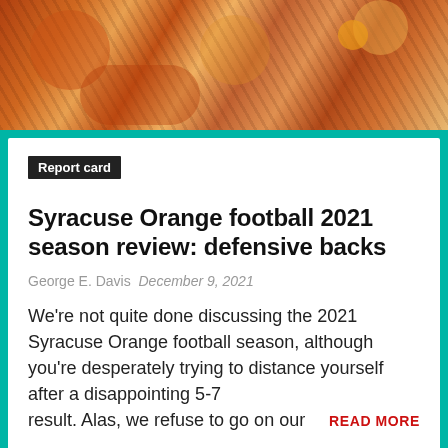[Figure (photo): Football players in orange and gold uniforms during a game, action shot]
Report card
Syracuse Orange football 2021 season review: defensive backs
George E. Davis   December 9, 2021
We're not quite done discussing the 2021 Syracuse Orange football season, although you're desperately trying to distance yourself after a disappointing 5-7 result. Alas, we refuse to go on our … READ MORE
special teams
[Figure (photo): Football players at bottom of page, partial view]